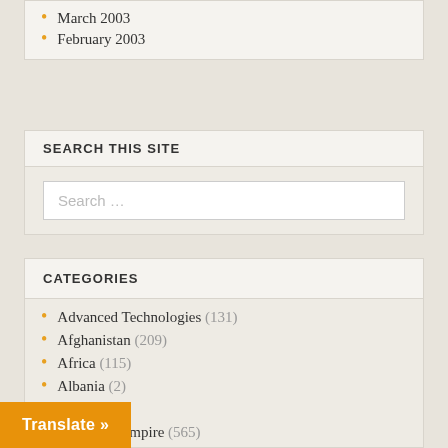March 2003
February 2003
SEARCH THIS SITE
Search …
CATEGORIES
Advanced Technologies (131)
Afghanistan (209)
Africa (115)
Albania (2)
Algeria (4)
American Empire (565)
Analysis (280)
d (4)
Translate »